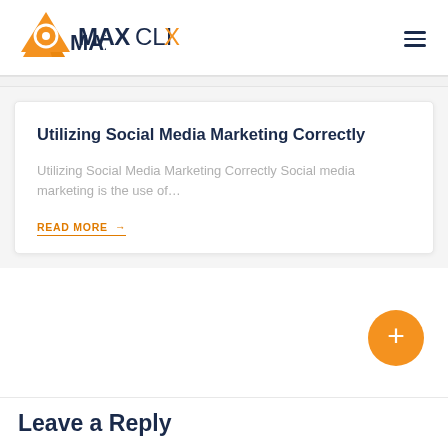[Figure (logo): MAXCLIX logo with orange mountain icon and dark navy text]
Utilizing Social Media Marketing Correctly
Utilizing Social Media Marketing Correctly Social media marketing is the use of...
READ MORE →
[Figure (other): Orange circular FAB button with plus sign]
Leave a Reply